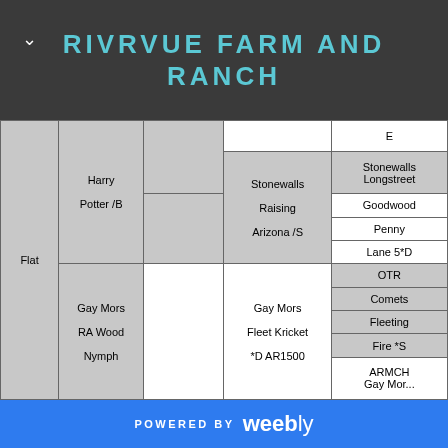RIVRVUE FARM AND RANCH
|  | Harry |  |  | E |
|  | Potter /B |  | Stonewalls
Raising
Arizona /S | Stonewalls
Longstreet
Goodwood
Penny
Lane 5*D |
| Flat | Gay Mors
RA Wood
Nymph |  | Gay Mors
Fleet Kricket
*D AR1500 | OTR
Comets
Fleeting
Fire *S
ARMCH
Gay Mor... |
POWERED BY weebly